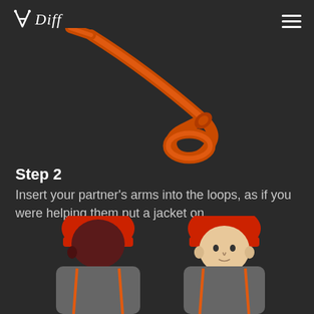V.Diff
[Figure (illustration): An orange climbing sling/runner shown diagonally, twisted with a loop at the bottom end, on dark background.]
Step 2
Insert your partner’s arms into the loops, as if you were helping them put a jacket on.
[Figure (illustration): Two climbers (cartoon style) shown from shoulders up, both wearing red helmets. Left figure has dark skin, right figure has light skin. Both wearing grey/orange clothing. Dark background.]